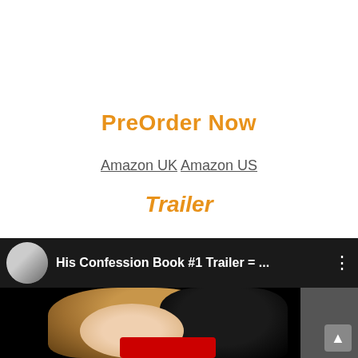PreOrder Now
Amazon UK  Amazon US
Trailer
[Figure (screenshot): YouTube video embed showing 'His Confession Book #1 Trailer = ...' with a circular avatar on the left, three-dot menu on the right, and a thumbnail below showing two people with hair visible, and a red element at the bottom.]